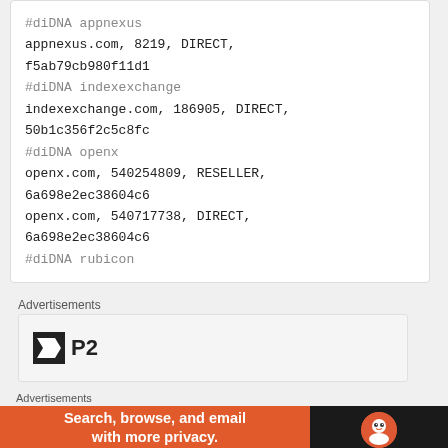#diDNA appnexus
appnexus.com, 8219, DIRECT,
f5ab79cb980f11d1
#diDNA indexexchange
indexexchange.com, 186905, DIRECT,
50b1c356f2c5c8fc
#diDNA openx
openx.com, 540254809, RESELLER,
6a698e2ec38604c6
openx.com, 540717738, DIRECT,
6a698e2ec38604c6
#diDNA rubicon
Advertisements
[Figure (logo): P2 logo with black square icon and bold P2 text]
Advertisements
[Figure (screenshot): DuckDuckGo advertisement banner: orange left side with text 'Search, browse, and email with more privacy. All in One Free App' and dark right side with DuckDuckGo logo]